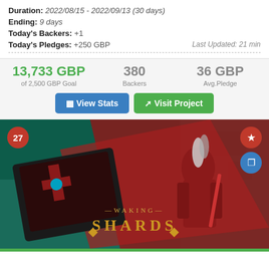Duration: 2022/08/15 - 2022/09/13 (30 days)
Ending: 9 days
Today's Backers: +1
Today's Pledges: +250 GBP   Last Updated: 21 min
13,733 GBP of 2,500 GBP Goal | 380 Backers | 36 GBP Avg.Pledge
[Figure (screenshot): Kickstarter project image for 'Waking Shards' card game showing a red armored knight warrior with playing card box and the title 'WAKING SHARDS' in gold lettering on a teal and red background. Badge '27' on top left, star and copy icons on top right.]